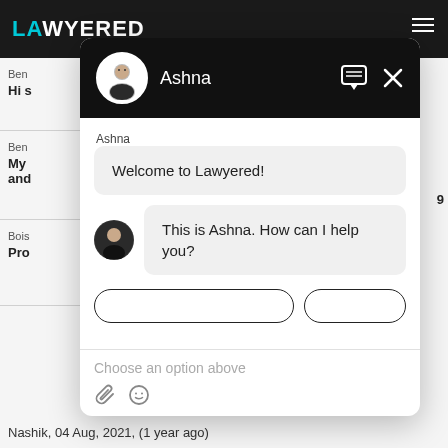[Figure (screenshot): Screenshot of Lawyered website with a chat widget open. Chat agent named Ashna greets the user with 'Welcome to Lawyered!' and 'This is Ashna. How can I help you?' messages. Input area shows 'Choose an option above' placeholder text.]
Ashna
Welcome to Lawyered!
This is Ashna. How can I help you?
Choose an option above
Nashik,  04 Aug, 2021,  (1 year ago)